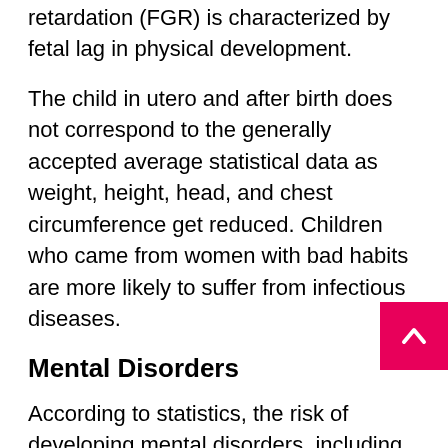retardation (FGR) is characterized by fetal lag in physical development.
The child in utero and after birth does not correspond to the generally accepted average statistical data as weight, height, head, and chest circumference get reduced. Children who came from women with bad habits are more likely to suffer from infectious diseases.
Mental Disorders
According to statistics, the risk of developing mental disorders, including autism, increases. The child experiences significant difficulties in contact with outside world and people. As a result, he prefers staying at home.